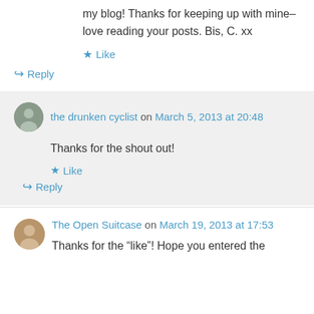my blog! Thanks for keeping up with mine–love reading your posts. Bis, C. xx
Like
Reply
the drunken cyclist on March 5, 2013 at 20:48
Thanks for the shout out!
Like
Reply
The Open Suitcase on March 19, 2013 at 17:53
Thanks for the “like”! Hope you entered the